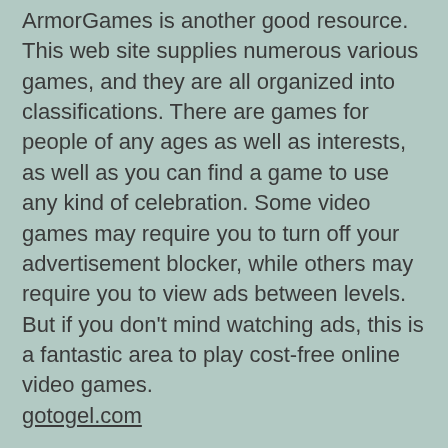ArmorGames is another good resource. This web site supplies numerous various games, and they are all organized into classifications. There are games for people of any ages as well as interests, as well as you can find a game to use any kind of celebration. Some video games may require you to turn off your advertisement blocker, while others may require you to view ads between levels. But if you don't mind watching ads, this is a fantastic area to play cost-free online video games. gotogel.com
ArmorGames is another fantastic website to